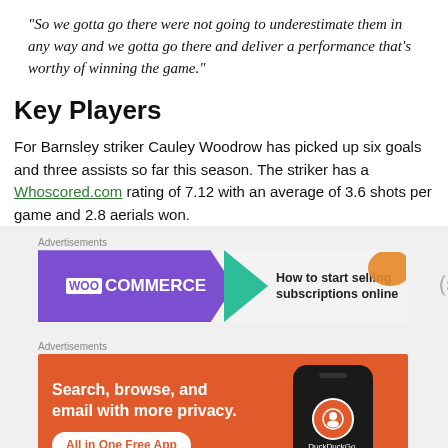“So we gotta go there were not going to underestimate them in any way and we gotta go there and deliver a performance that’s worthy of winning the game.”
Key Players
For Barnsley striker Cauley Woodrow has picked up six goals and three assists so far this season. The striker has a Whoscored.com rating of 7.12 with an average of 3.6 shots per game and 2.8 aerials won.
Advertisements
[Figure (other): WooCommerce advertisement banner: purple background with WooCommerce logo and arrow, text 'How to start selling subscriptions online', orange decorative element]
Advertisements
[Figure (other): DuckDuckGo advertisement banner: orange background with text 'Search, browse, and email with more privacy. All in One Free App' and DuckDuckGo logo on phone]